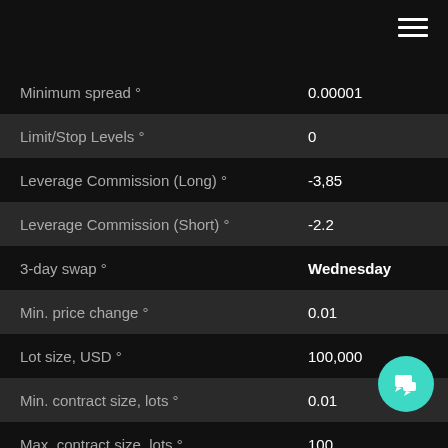| Parameter | Value |
| --- | --- |
| Minimum spread ° | 0.00001 |
| Limit/Stop Levels ° | 0 |
| Leverage Commission (Long) ° | -3,85 |
| Leverage Commission (Short) ° | -2.2 |
| 3-day swap ° | Wednesday |
| Min. price change ° | 0.01 |
| Lot size, USD ° | 100,000 |
| Min. contract size, lots ° | 0.01 |
| Max. contract size, lots ° | 100 |
| Min. price step, lots ° | 0.01 |
| Trading hours, EET ° | 00:05 - 23:59 |